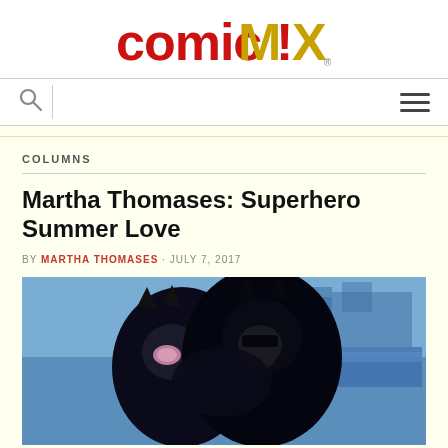[Figure (logo): ComicMix logo with red and gold stylized lettering]
Search icon and hamburger menu navigation bar
COLUMNS
Martha Thomases: Superhero Summer Love
BY MARTHA THOMASES · JULY 7, 2017
[Figure (illustration): Comic book style illustration of Catwoman and Batman in blue tones, about to kiss]